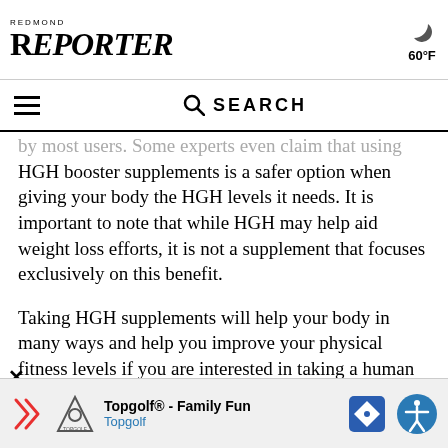REDMOND REPORTER 60°F
by most users. Some experts even claim that using HGH booster supplements is a safer option when giving your body the HGH levels it needs. It is important to note that while HGH may help aid weight loss efforts, it is not a supplement that focuses exclusively on this benefit.
Taking HGH supplements will help your body in many ways and help you improve your physical fitness levels if you are interested in taking a human growth hormone supplement, learning about the Top Human Growth Hormone options nd what to consider before purchasing is essential
Topgolf® - Family Fun Topgolf